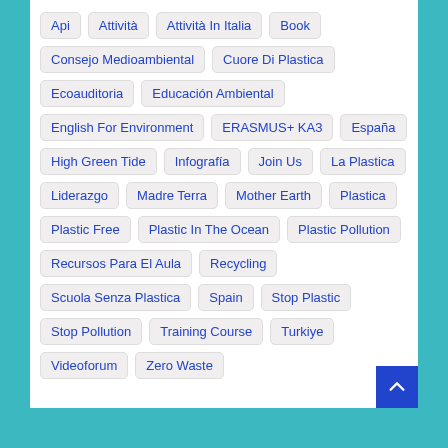Api
Attività
Attività In Italia
Book
Consejo Medioambiental
Cuore Di Plastica
Ecoauditoria
Educación Ambiental
English For Environment
ERASMUS+ KA3
España
High Green Tide
Infografía
Join Us
La Plastica
Liderazgo
Madre Terra
Mother Earth
Plastica
Plastic Free
Plastic In The Ocean
Plastic Pollution
Recursos Para El Aula
Recycling
Scuola Senza Plastica
Spain
Stop Plastic
Stop Pollution
Training Course
Turkiye
Videoforum
Zero Waste